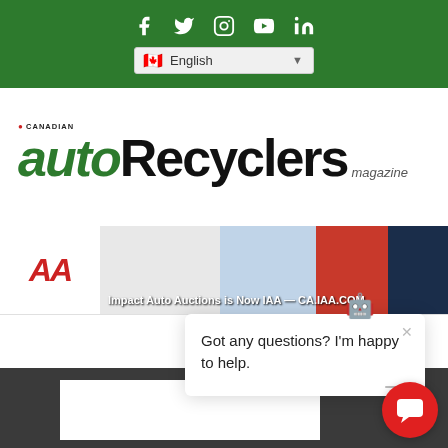Social media icons: Facebook, Twitter, Instagram, YouTube, LinkedIn; Language selector: English
[Figure (logo): Canadian auto Recyclers magazine logo — 'auto' in green italic, 'Recyclers' in black bold, 'magazine' in italic below]
[Figure (screenshot): IAA banner ad — Impact Auto Auctions is Now IAA — CA.IAA.COM, showing cars in background]
Got any questions? I'm happy to help.
[Figure (other): Red circular chat button with speech bubble icon in bottom right corner]